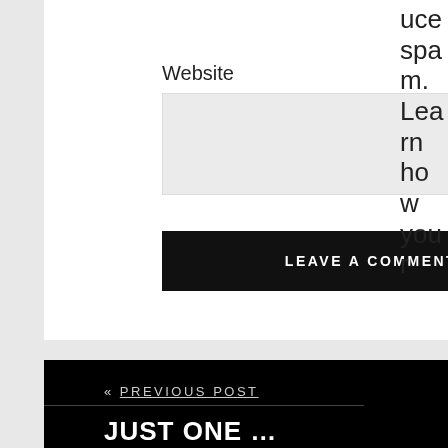Website
[Figure (other): Text input field for website URL, light gray background]
LEAVE A COMMENT
uce spa m. Learn how your comment data is processed.
« PREVIOUS POST
JUST ONE …